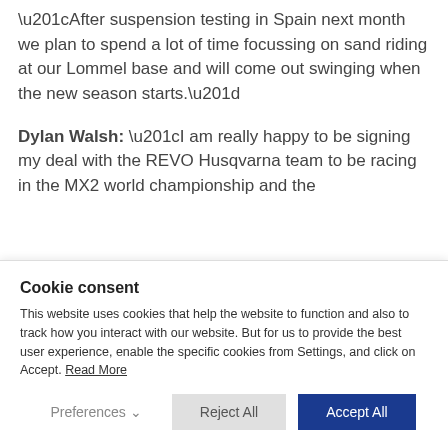“After suspension testing in Spain next month we plan to spend a lot of time focussing on sand riding at our Lommel base and will come out swinging when the new season starts.”
Dylan Walsh: “I am really happy to be signing my deal with the REVO Husqvarna team to be racing in the MX2 world championship and the
Cookie consent
This website uses cookies that help the website to function and also to track how you interact with our website. But for us to provide the best user experience, enable the specific cookies from Settings, and click on Accept. Read More